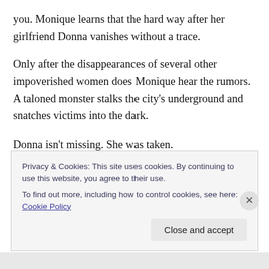you. Monique learns that the hard way after her girlfriend Donna vanishes without a trace.
Only after the disappearances of several other impoverished women does Monique hear the rumors. A taloned monster stalks the city's underground and snatches victims into the dark.
Donna isn't missing. She was taken.
To save the woman she loves, Monique must descend deeper than the known underground, into a subterranean
Privacy & Cookies: This site uses cookies. By continuing to use this website, you agree to their use.
To find out more, including how to control cookies, see here: Cookie Policy
Close and accept